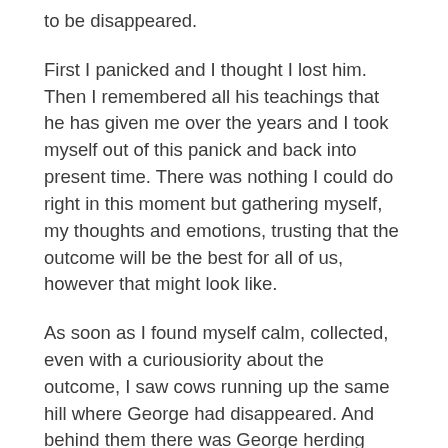to be disappeared.
First I panicked and I thought I lost him. Then I remembered all his teachings that he has given me over the years and I took myself out of this panick and back into present time. There was nothing I could do right in this moment but gathering myself, my thoughts and emotions, trusting that the outcome will be the best for all of us, however that might look like.
As soon as I found myself calm, collected, even with a curiousiority about the outcome, I saw cows running up the same hill where George had disappeared. And behind them there was George herding